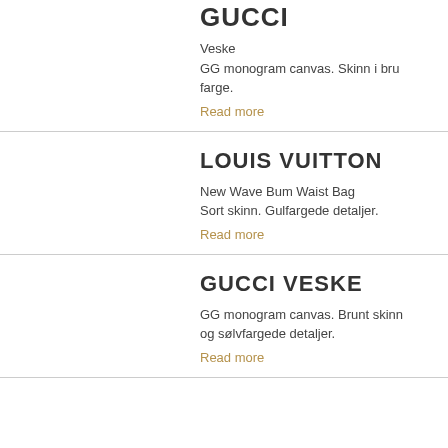GUCCI
Veske
GG monogram canvas. Skinn i bru farge.
Read more
LOUIS VUITTON
New Wave Bum Waist Bag
Sort skinn. Gulfargede detaljer.
Read more
GUCCI VESKE
GG monogram canvas. Brunt skinn og sølvfargede detaljer.
Read more